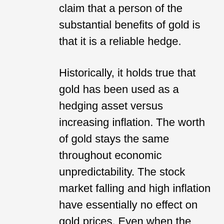claim that a person of the substantial benefits of gold is that it is a reliable hedge.
Historically, it holds true that gold has been used as a hedging asset versus increasing inflation. The worth of gold stays the same throughout economic unpredictability. The stock market falling and high inflation have essentially no effect on gold prices. Even when the worth of a currency falls, gold is not impacted.
In some nations, gold has cultural worth. In China, for instance, gold bars are the typical kind of